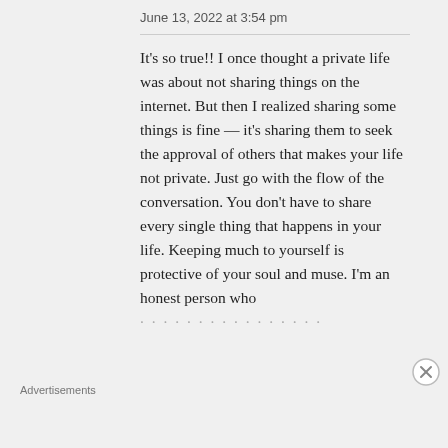June 13, 2022 at 3:54 pm
It's so true!! I once thought a private life was about not sharing things on the internet. But then I realized sharing some things is fine — it's sharing them to seek the approval of others that makes your life not private. Just go with the flow of the conversation. You don't have to share every single thing that happens in your life. Keeping much to yourself is protective of your soul and muse. I'm an honest person who
Advertisements